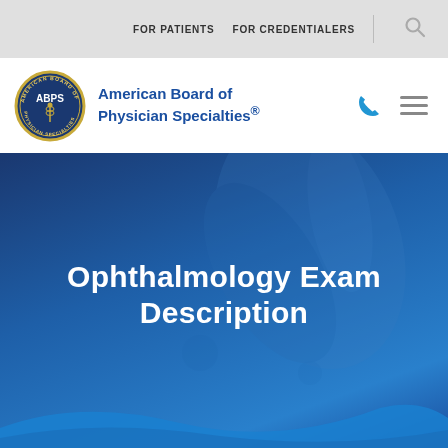FOR PATIENTS   FOR CREDENTIALERS
[Figure (logo): American Board of Physician Specialties circular seal logo with ABPS text]
American Board of Physician Specialties®
[Figure (photo): Dark blue overlay hero image with hands in background, decorative wave at bottom]
Ophthalmology Exam Description